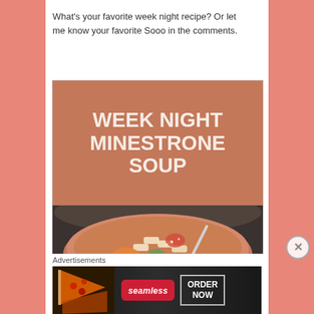What's your favorite week night recipe? Or let me know your favorite Sooo in the comments.
[Figure (illustration): Recipe card image for Week Night Minestrone Soup showing a terracotta bowl of minestrone soup with pasta, carrots, and vegetables with a spoon, topped with grated cheese]
Advertisements
[Figure (other): Seamless food delivery advertisement banner showing pizza slices on left, Seamless logo in red pill badge, and ORDER NOW button on dark background]